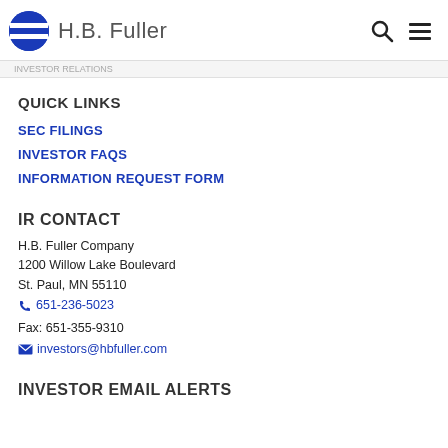H.B. Fuller
QUICK LINKS
SEC FILINGS
INVESTOR FAQS
INFORMATION REQUEST FORM
IR CONTACT
H.B. Fuller Company
1200 Willow Lake Boulevard
St. Paul, MN 55110
651-236-5023
Fax: 651-355-9310
investors@hbfuller.com
INVESTOR EMAIL ALERTS